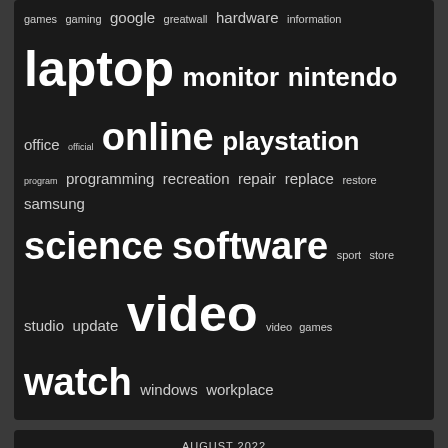games gaming google greatwall hardware information laptop monitor nintendo office official online playstation program programming recreation repair replace restore samsung science software sport store studio update video video games watch windows workplace
AUGUST 2022
| M | T | W | T | F | S | S |
| --- | --- | --- | --- | --- | --- | --- |
| 1 | 2 | 3 | 4 | 5 | 6 | 7 |
| 8 | 9 | 10 | 11 | 12 | 13 | 14 |
| 15 | 16 | 17 | 18 | 19 | 20 | 21 |
| 22 | 23 | 24 | 25 | 26 | 27 | 28 |
| 29 | 30 | 31 |  |  |  |  |
« Jul